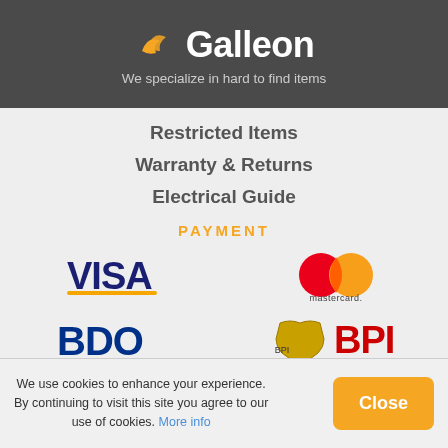[Figure (logo): Galleon logo with orange bird icon and white text on dark grey background]
We specialize in hard to find items
Restricted Items
Warranty & Returns
Electrical Guide
PAYMENT
[Figure (logo): VISA logo in blue/gold on grey background]
[Figure (logo): Mastercard logo with red and orange overlapping circles]
[Figure (logo): BDO logo in dark blue bold text]
[Figure (logo): BPI logo with gold shield icon and red BPI text]
[Figure (logo): Dragonpay logo with orange flame dragon icon]
[Figure (logo): PayPal logo with blue P icon and blue/dark PayPal text]
We use cookies to enhance your experience. By continuing to visit this site you agree to our use of cookies. More info